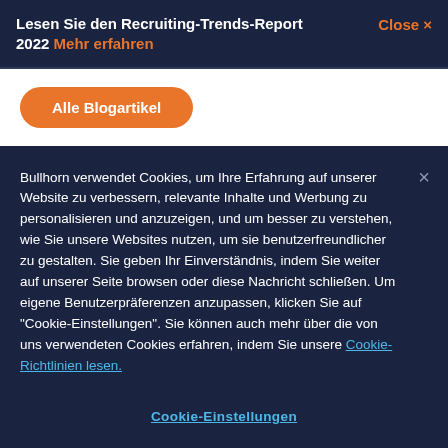Lesen Sie den Recruiting-Trends-Report 2022 Mehr erfahren
Close ×
Alle Blogartikel
Bullhorn verwendet Cookies, um Ihre Erfahrung auf unserer Website zu verbessern, relevante Inhalte und Werbung zu personalisieren und anzuzeigen, und um besser zu verstehen, wie Sie unsere Websites nutzen, um sie benutzerfreundlicher zu gestalten. Sie geben Ihr Einverständnis, indem Sie weiter auf unserer Seite browsen oder diese Nachricht schließen. Um eigene Benutzerpräferenzen anzupassen, klicken Sie auf "Cookie-Einstellungen". Sie können auch mehr über die von uns verwendeten Cookies erfahren, indem Sie unsere Cookie-Richtlinien lesen.
Cookie-Einstellungen